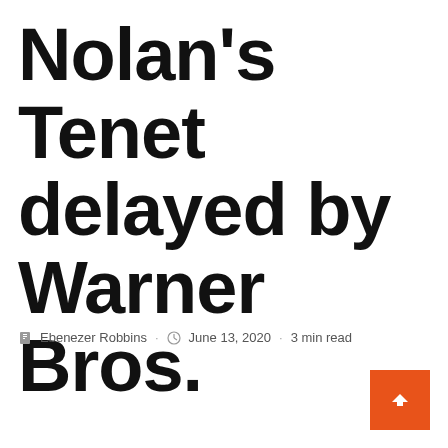Nolan's Tenet delayed by Warner Bros.
✎ Ebenezer Robbins · 🕐 June 13, 2020 · 3 min read